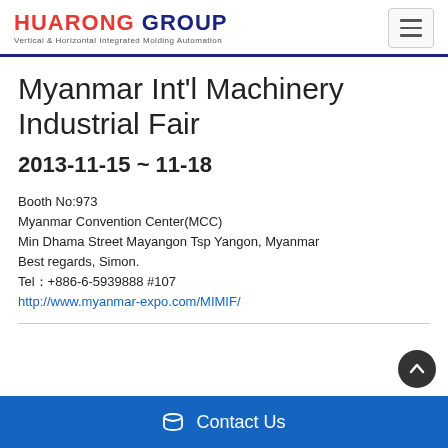HUARONG GROUP - Vertical & Horizontal Integrated Molding Automation
Myanmar Int'l Machinery Industrial Fair
2013-11-15 ~ 11-18
Booth No:973
Myanmar Convention Center(MCC)
Min Dhama Street Mayangon Tsp Yangon, Myanmar
Best regards, Simon.
Tel：+886-6-5939888 #107
http://www.myanmar-expo.com/MIMIF/
Contact Us